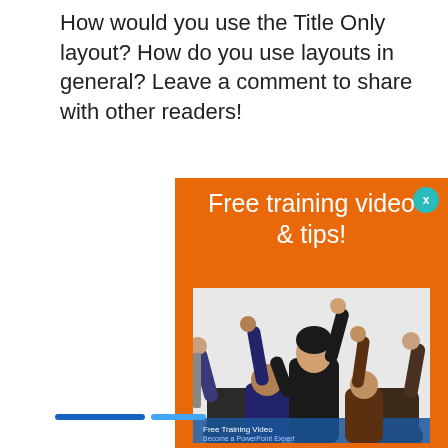How would you use the Title Only layout? How do you use layouts in general? Leave a comment to share with other readers!
[Figure (other): Orange advertisement panel titled 'Free training video & tips!' with a teal X close button, and a photo of a woman presenting to an enthusiastic audience with raised hands.]